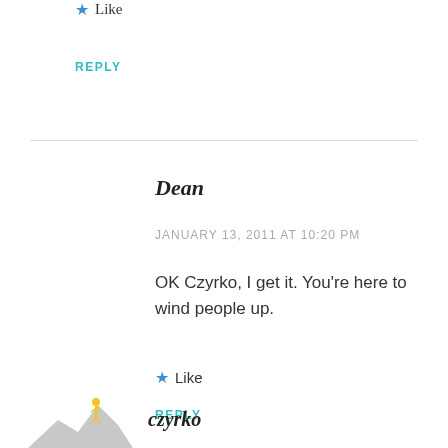Like
REPLY
Dean
JANUARY 13, 2011 AT 10:20 PM
OK Czyrko, I get it. You're here to wind people up.
Like
REPLY
czyrko